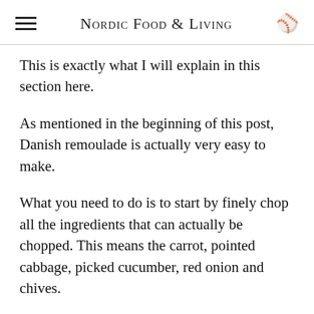Nordic Food & Living
This is exactly what I will explain in this section here.
As mentioned in the beginning of this post, Danish remoulade is actually very easy to make.
What you need to do is to start by finely chop all the ingredients that can actually be chopped. This means the carrot, pointed cabbage, picked cucumber, red onion and chives.